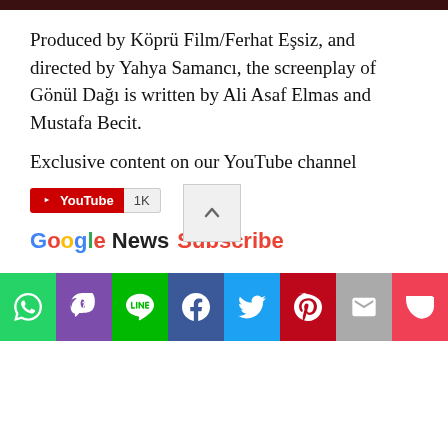[Figure (other): Dark brown/maroon horizontal banner at the top of the page]
Produced by Köprü Film/Ferhat Eşsiz, and directed by Yahya Samancı, the screenplay of Gönül Dağı is written by Ali Asaf Elmas and Mustafa Becit.
Exclusive content on our YouTube channel
[Figure (screenshot): YouTube subscribe button showing red YouTube logo badge with '1K' subscriber count, and a scroll-to-top arrow button on the right]
[Figure (logo): Google News Subscribe button with Google colors for 'Google' and red 'Subscribe' text]
[Figure (infographic): Social share bar with icons for WhatsApp, Viber, Line, Facebook, Twitter, Pinterest, Email, Pocket]